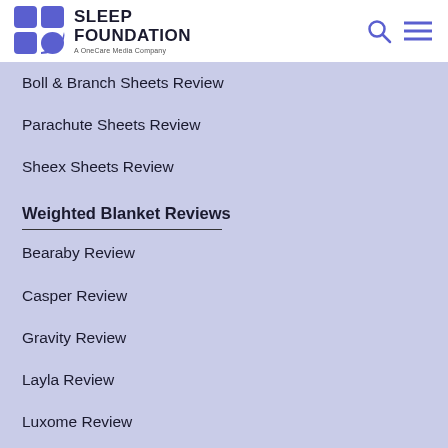Sleep Foundation — A OneCare Media Company
Boll & Branch Sheets Review
Parachute Sheets Review
Sheex Sheets Review
Weighted Blanket Reviews
Bearaby Review
Casper Review
Gravity Review
Layla Review
Luxome Review
Mattress Reviews
Helix Mattress